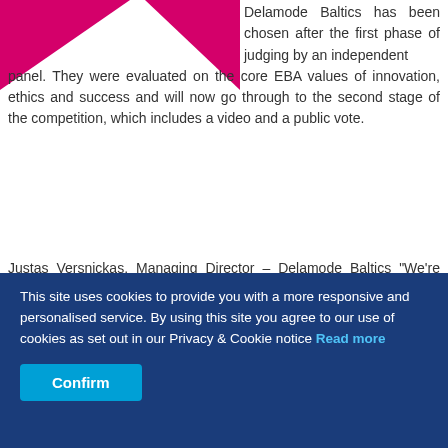[Figure (illustration): Two magenta/pink triangular decorative shapes in the top-left area of the page, pointing inward toward each other like a logo or header graphic.]
Delamode Baltics has been chosen after the first phase of judging by an independent panel. They were evaluated on the core EBA values of innovation, ethics and success and will now go through to the second stage of the competition, which includes a video and a public vote.
Justas Versnickas, Managing Director – Delamode Baltics "We're very proud to be selected to represent Lithuania as a National Champion. The European Business Awards is widely recognised as the showcase for Europe's most dynamic companies and we are proud to be recognised at this level."
Adrian Tripp, CEO of the European Business Awards said: "Congratulations Delamode Baltics, they have...
This site uses cookies to provide you with a more responsive and personalised service. By using this site you agree to our use of cookies as set out in our Privacy & Cookie notice Read more
Confirm